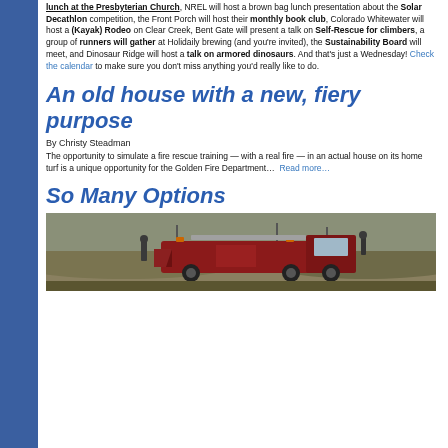lunch at the Presbyterian Church, NREL will host a brown bag lunch presentation about the Solar Decathlon competition, the Front Porch will host their monthly book club, Colorado Whitewater will host a (Kayak) Rodeo on Clear Creek, Bent Gate will present a talk on Self-Rescue for climbers, a group of runners will gather at Holidaily brewing (and you're invited), the Sustainability Board will meet, and Dinosaur Ridge will host a talk on armored dinosaurs. And that's just a Wednesday! Check the calendar to make sure you don't miss anything you'd really like to do.
An old house with a new, fiery purpose
By Christy Steadman
The opportunity to simulate a fire rescue training — with a real fire — in an actual house on its home turf is a unique opportunity for the Golden Fire Department… Read more…
So Many Options
[Figure (photo): A fire truck with a red/maroon body and a draped banner on the front, parked outdoors on dry grassy terrain. People are visible near the truck.]